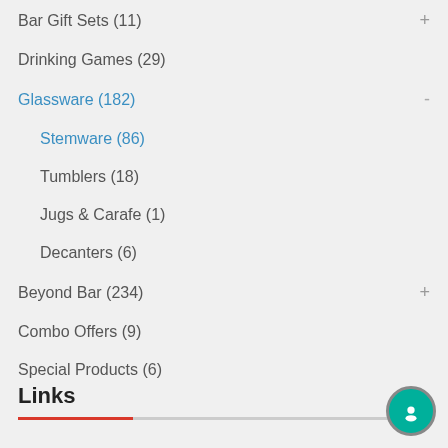Bar Gift Sets (11)
Drinking Games (29)
Glassware (182)
Stemware (86)
Tumblers (18)
Jugs & Carafe (1)
Decanters (6)
Beyond Bar (234)
Combo Offers (9)
Special Products (6)
Links